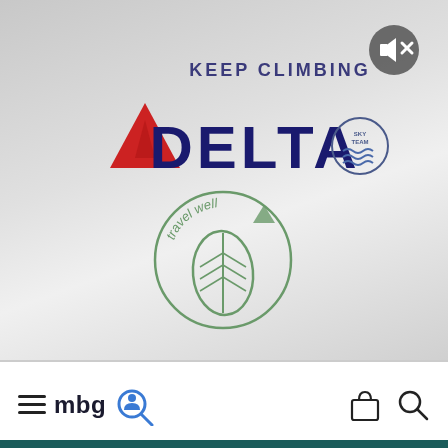[Figure (logo): Delta Air Lines logo with red triangle and DELTA text in navy, KEEP CLIMBING tagline, SkyTeam badge, and travel well green leaf circular badge]
[Figure (logo): MBG navigation bar with hamburger menu, mbg text, magnifying glass icon, shopping bag icon, and search icon]